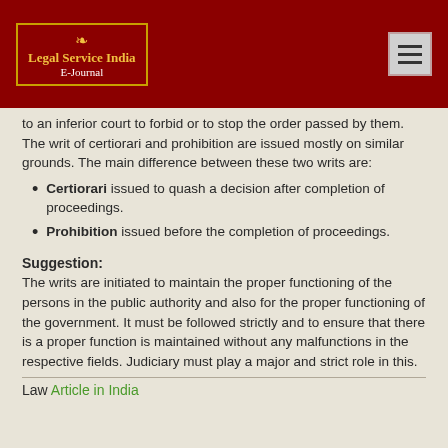[Figure (logo): Legal Service India E-Journal logo with golden border and red background]
to an inferior court to forbid or to stop the order passed by them. The writ of certiorari and prohibition are issued mostly on similar grounds. The main difference between these two writs are:
Certiorari issued to quash a decision after completion of proceedings.
Prohibition issued before the completion of proceedings.
Suggestion:
The writs are initiated to maintain the proper functioning of the persons in the public authority and also for the proper functioning of the government. It must be followed strictly and to ensure that there is a proper function is maintained without any malfunctions in the respective fields. Judiciary must play a major and strict role in this.
Law Article in India